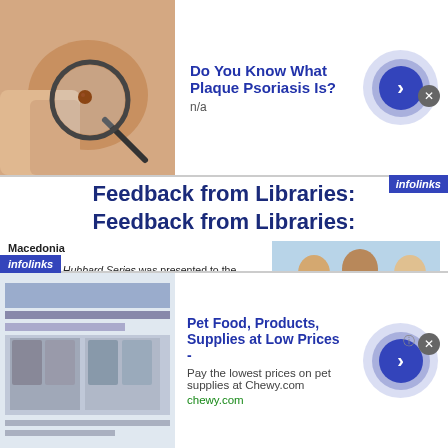[Figure (photo): Top advertisement banner: image of skin with magnifying glass, headline 'Do You Know What Plaque Psoriasis Is?' with n/a below]
Feedback from Libraries:
Feedback from Libraries:
Macedonia
The L. Ron Hubbard Series was presented to the largest library in Macedonia, St. Clement of Ohrid National Library. The Executive Director was very grateful and responded:
"L. Ron Hubbard is now part of my library and will stay here forever."
Not only were the books placed in prominent positions, but the Director plans to deliver a [presentation] about LRH to his library patrons.
[Figure (photo): Photo of three people (two men and a woman) posing with L. Ron Hubbard Series books, plus a strip of black-and-white photos below]
[Figure (photo): Bottom advertisement: Pet Food, Products, Supplies at Low Prices - Chewy.com]